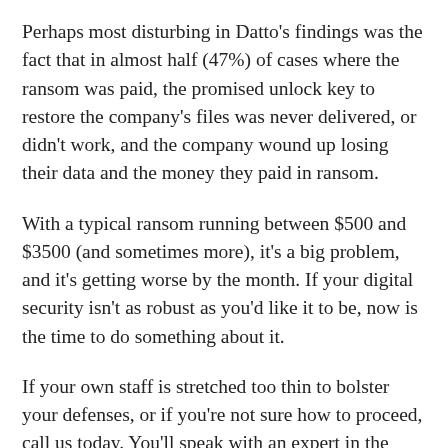Perhaps most disturbing in Datto's findings was the fact that in almost half (47%) of cases where the ransom was paid, the promised unlock key to restore the company's files was never delivered, or didn't work, and the company wound up losing their data and the money they paid in ransom.
With a typical ransom running between $500 and $3500 (and sometimes more), it's a big problem, and it's getting worse by the month. If your digital security isn't as robust as you'd like it to be, now is the time to do something about it.
If your own staff is stretched too thin to bolster your defenses, or if you're not sure how to proceed, call us today. You'll speak with an expert in the field who can assess your current situation and put you on the path toward greater security, which will give you greater peace of mind.